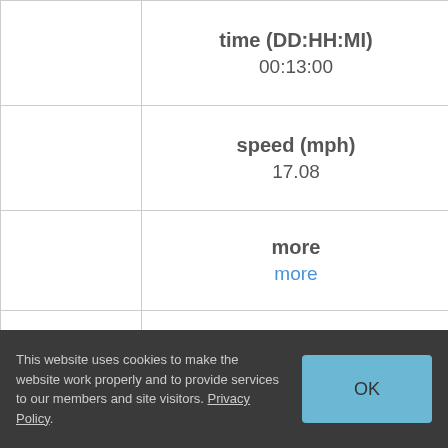|  |  |
| --- | --- |
|  | time (DD:HH:MI)
00:13:00 |
|  | speed (mph)
17.08 |
|  | more
more |
|  | report |
|  | old?
No |
|  | cities
Seattle, WA - San Diego, CA |
|  | rider name |
This website uses cookies to make the website work properly and to provide services to our members and site visitors. Privacy Policy.